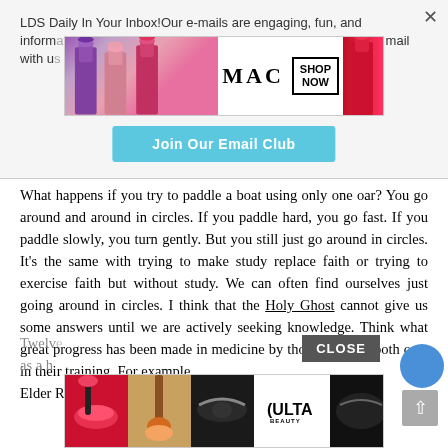LDS Daily In Your Inbox!Our e-mails are engaging, fun, and informative. Sign up for our email with us
[Figure (photo): MAC cosmetics advertisement banner showing colorful lipsticks and MAC logo with SHOP NOW button]
Join Our Email Club
What happens if you try to paddle a boat using only one oar? You go around and around in circles. If you paddle hard, you go fast. If you paddle slowly, you turn gently. But you still just go around in circles. It's the same with trying to make study replace faith or trying to exercise faith but without study. We can often find ourselves just going around in circles. I think that the Holy Ghost cannot give us some answers until we are actively seeking knowledge. Think what great progress has been made in medicine by those who use both oars in their training. For example, Elder Russell M. Nelson, a member of the Cou
Twelve ... as a h
CLOSE
[Figure (photo): ULTA beauty advertisement banner showing makeup products and models with SHOP NOW button]